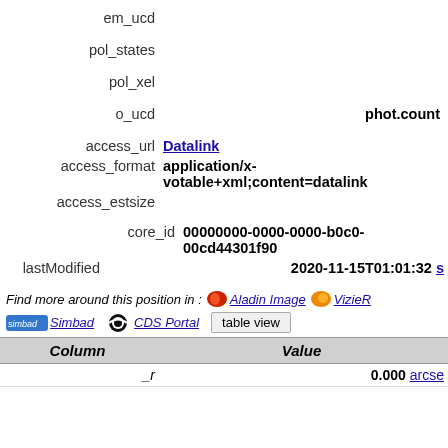em_ucd
pol_states
pol_xel
o_ucd   phot.count
access_url Datalink
access_format application/x-votable+xml;content=datalink
access_estsize
core_id 00000000-0000-0000-b0c0-00cd44301f90
lastModified 2020-11-15T01:01:32 s
Find more around this position in : Aladin Image VizieR
Simbad CDS Portal table view
| Column | Value |
| --- | --- |
| _r | 0.000 arcsec |
_r   0.000 arcsec